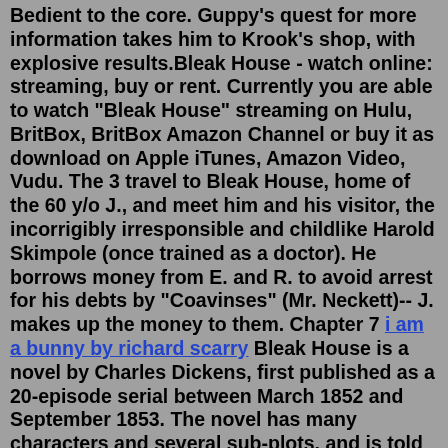Bedient to the core. Guppy's quest for more information takes him to Krook's shop, with explosive results.Bleak House - watch online: streaming, buy or rent. Currently you are able to watch "Bleak House" streaming on Hulu, BritBox, BritBox Amazon Channel or buy it as download on Apple iTunes, Amazon Video, Vudu. The 3 travel to Bleak House, home of the 60 y/o J., and meet him and his visitor, the incorrigibly irresponsible and childlike Harold Skimpole (once trained as a doctor). He borrows money from E. and R. to avoid arrest for his debts by "Coavinses" (Mr. Neckett)-- J. makes up the money to them. Chapter 7 i am a bunny by richard scarry Bleak House is a novel by Charles Dickens, first published as a 20-episode serial between March 1852 and September 1853. The novel has many characters and several sub-plots, and is told partly by the novel's heroine, Esther Summerson, and partly by an omniscient narrator. Bleak houses. Paul Noble. T. Who'd live in a house like this? Maybe the point of Nobson's buildings is to ease you into the words